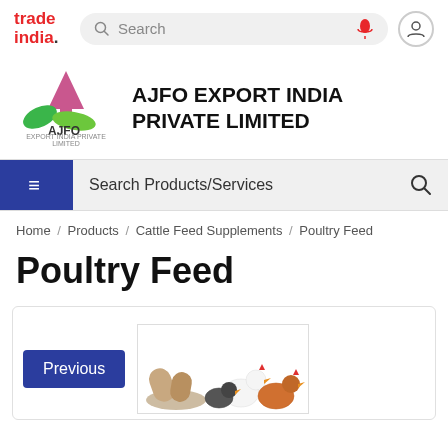trade india. Search [mic] [user]
AJFO EXPORT INDIA PRIVATE LIMITED
Search Products/Services
Home / Products / Cattle Feed Supplements / Poultry Feed
Poultry Feed
[Figure (screenshot): Previous button (blue) and product image showing poultry feed pellets and chickens]
Previous